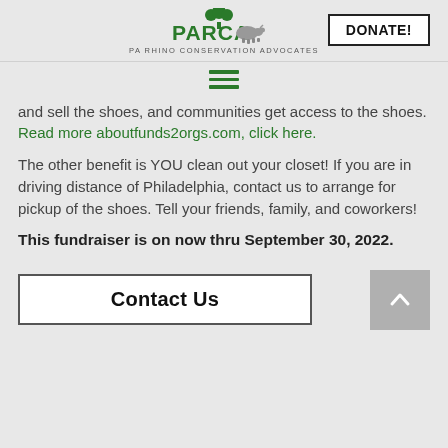[Figure (logo): PARCA - PA Rhino Conservation Advocates logo with green tree icon and rhino silhouette]
DONATE!
[Figure (other): Hamburger menu icon (three horizontal green lines)]
and sell the shoes, and communities get access to the shoes. Read more aboutfunds2orgs.com, click here.
The other benefit is YOU clean out your closet! If you are in driving distance of Philadelphia, contact us to arrange for pickup of the shoes. Tell your friends, family, and coworkers!
This fundraiser is on now thru September 30, 2022.
Contact Us